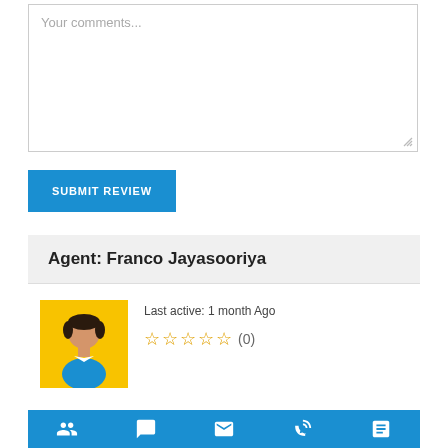Your comments...
SUBMIT REVIEW
Agent: Franco Jayasooriya
[Figure (illustration): Yellow square avatar with a cartoon person icon in teal shirt]
Last active: 1 month Ago
☆☆☆☆☆ (0)